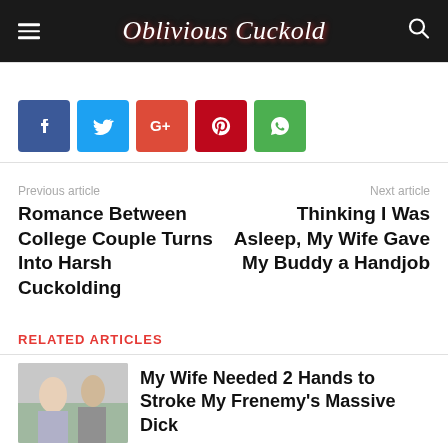Oblivious Cuckold
[Figure (other): Social share buttons: Facebook, Twitter, Google+, Pinterest, WhatsApp]
Previous article
Romance Between College Couple Turns Into Harsh Cuckolding
Next article
Thinking I Was Asleep, My Wife Gave My Buddy a Handjob
RELATED ARTICLES
My Wife Needed 2 Hands to Stroke My Frenemy's Massive Dick